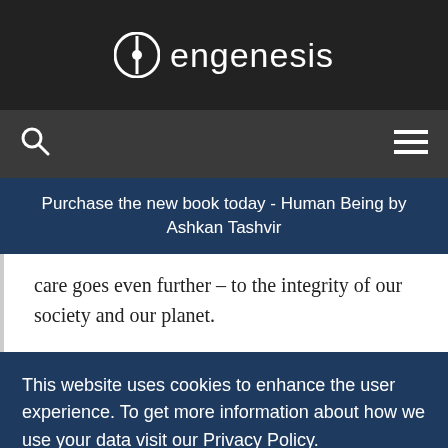[Figure (logo): Engenesis logo - circular icon with vertical line and dot, followed by text 'engenesis' in white on dark background]
[Figure (screenshot): Navigation bar with search icon on left and hamburger menu icon on right, dark gray background]
Purchase the new book today - Human Being by Ashkan Tashvir
care goes even further – to the integrity of our society and our planet.
This website uses cookies to enhance the user experience. To get more information about how we use your data visit our Privacy Policy.
Accept and Close